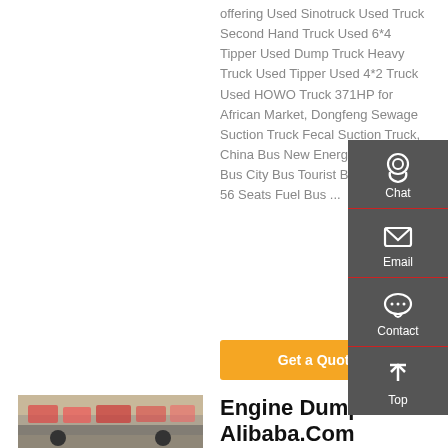offering Used Sinotruck Used Truck Second Hand Truck Used 6*4 Tipper Used Dump Truck Heavy Truck Used Tipper Used 4*2 Truck Used HOWO Truck 371HP for African Market, Dongfeng Sewage Suction Truck Fecal Suction Truck, China Bus New Energy Bus Luxury Bus City Bus Tourist Bus 28 Seats 56 Seats Fuel Bus ...
[Figure (infographic): Sidebar panel with dark gray background containing Chat (headset icon), Email (envelope icon), Contact (speech bubble icon), and Top (up arrow icon) buttons]
Get a Quote
[Figure (photo): Photo of heavy trucks viewed from inside a vehicle cab]
Engine Dump - Alibaba.Com